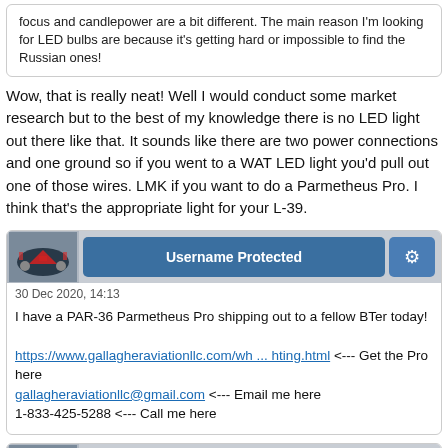focus and candlepower are a bit different. The main reason I'm looking for LED bulbs are because it's getting hard or impossible to find the Russian ones!
Wow, that is really neat! Well I would conduct some market research but to the best of my knowledge there is no LED light out there like that. It sounds like there are two power connections and one ground so if you went to a WAT LED light you'd pull out one of those wires. LMK if you want to do a Parmetheus Pro. I think that's the appropriate light for your L-39.
Username Protected
30 Dec 2020, 14:13
I have a PAR-36 Parmetheus Pro shipping out to a fellow BTer today!

https://www.gallagheraviationllc.com/wh ... hting.html <--- Get the Pro here
gallagheraviationllc@gmail.com <--- Email me here
1-833-425-5288 <--- Call me here
Username Protected
11 Jan 2021, 08:11
I received more of the Pro in stock and they are by far the most popular LED product I have to offer. If you're doing an annual inspection, this is a great item to quickly drop in.
Username Protected